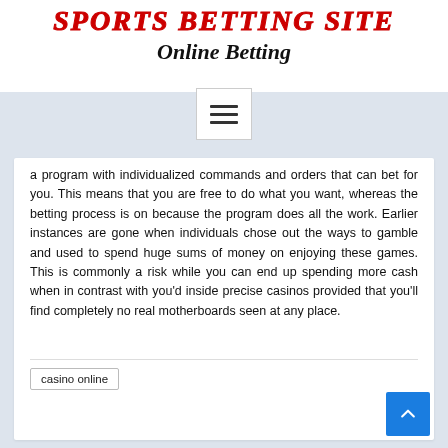SPORTS BETTING SITE Online Betting
a program with individualized commands and orders that can bet for you. This means that you are free to do what you want, whereas the betting process is on because the program does all the work. Earlier instances are gone when individuals chose out the ways to gamble and used to spend huge sums of money on enjoying these games. This is commonly a risk while you can end up spending more cash when in contrast with you'd inside precise casinos provided that you'll find completely no real motherboards seen at any place.
casino online